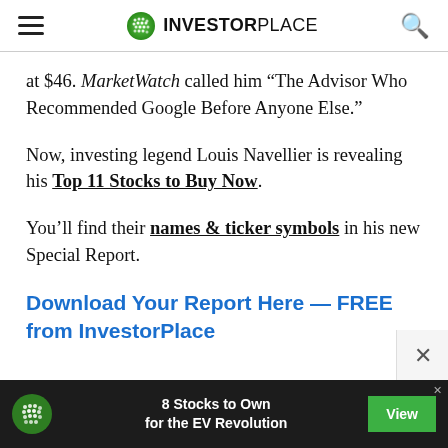INVESTORPLACE
at $46. MarketWatch called him “The Advisor Who Recommended Google Before Anyone Else.”
Now, investing legend Louis Navellier is revealing his Top 11 Stocks to Buy Now.
You’ll find their names & ticker symbols in his new Special Report.
Download Your Report Here — FREE from InvestorPlace
[Figure (other): Advertisement banner: InvestorPlace green dot logo, text '8 Stocks to Own for the EV Revolution', green 'View' button]